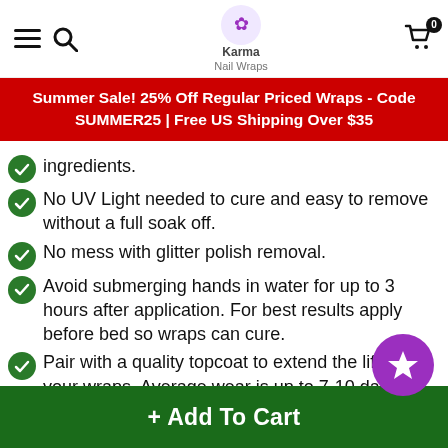Karma Nail Wraps — navigation header with menu, search, logo, cart
Summer Sale! 25% Off Regular Priced Wraps - Code SUMMER25 | Free US Shipping Over $35
ingredients.
No UV Light needed to cure and easy to remove without a full soak off.
No mess with glitter polish removal.
Avoid submerging hands in water for up to 3 hours after application. For best results apply before bed so wraps can cure.
Pair with a quality topcoat to extend the life of your wraps. Average wear is up to 7-10 days for our Value Plus and Luxury. Our Basic line has an average wear of 3-5 days.
+ Add To Cart